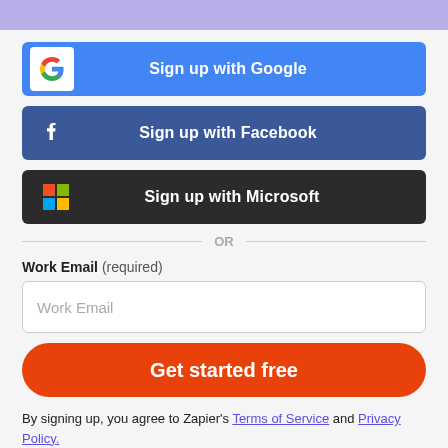[Figure (screenshot): Purple top bar decorative stripe]
Sign up with Google
Sign up with Facebook
Sign up with Microsoft
OR
Work Email (required)
Work Email (placeholder)
Get started free
By signing up, you agree to Zapier's Terms of Service and Privacy Policy.